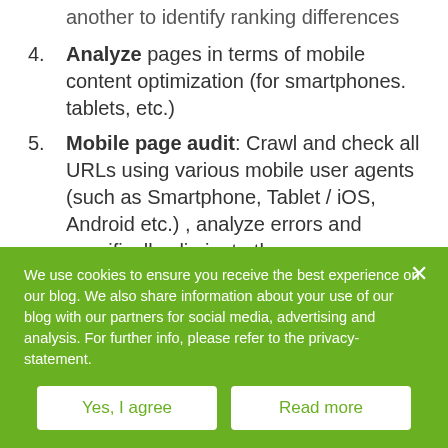another to identify ranking differences
4. Analyze pages in terms of mobile content optimization (for smartphones. tablets, etc.)
5. Mobile page audit: Crawl and check all URLs using various mobile user agents (such as Smartphone, Tablet / iOS, Android etc.) , analyze errors and specifically eliminate them
In our SEO and content software, the Searchmetrics Suite, we offer all of these options for more than 800 search
We use cookies to ensure you receive the best experience on our blog. We also share information about your use of our blog with our partners for social media, advertising and analysis. For further info, please refer to the privacy-statement.